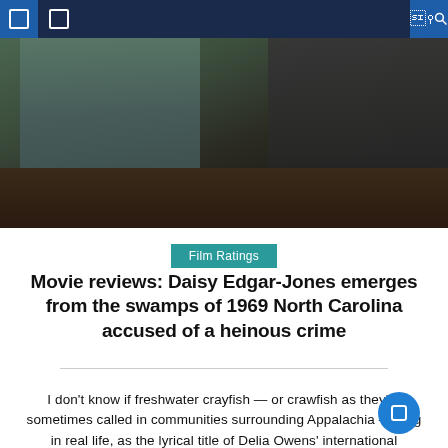Navigation bar with icons
[Figure (photo): Scene from a film showing a woman in a floral dress sitting at a dark wooden table, with another person in dark clothing visible to the right. Dark, moody lighting.]
Film Ratings
Movie reviews: Daisy Edgar-Jones emerges from the swamps of 1969 North Carolina accused of a heinous crime
I don't know if freshwater crayfish — or crawfish as they're sometimes called in communities surrounding Appalachia — sing in real life, as the lyrical title of Delia Owens' international bestseller suggests. Meowing shellfish are surely the prerogative of Disney animations. However, I know dir... Olivia Newman's slow-burn film adaptation is off key for long [...]